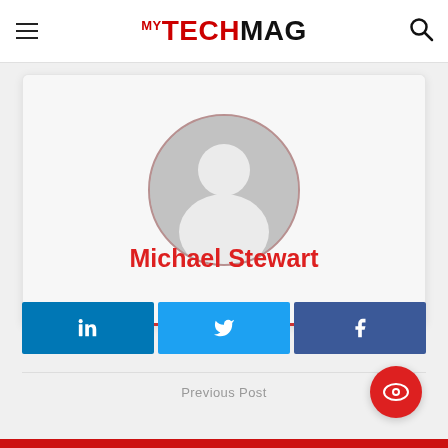MY TECH MAG
[Figure (photo): Default user avatar placeholder — grey silhouette of a person inside a grey circle]
Michael Stewart
[Figure (infographic): Three social share buttons: LinkedIn (blue), Twitter (light blue), Facebook (dark blue), each with respective icons]
Previous Post
[Figure (other): Red circular button with an eye icon]